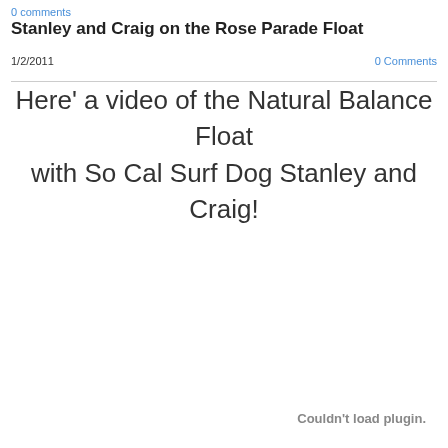0 comments
Stanley and Craig on the Rose Parade Float
1/2/2011
0 Comments
Here' a video of the Natural Balance Float
with So Cal Surf Dog Stanley and Craig!
Couldn't load plugin.